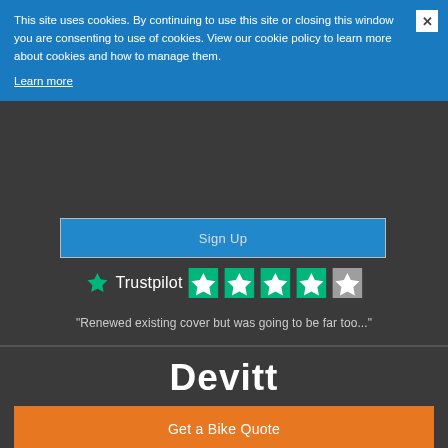This site uses cookies. By continuing to use this site or closing this window you are consenting to use of cookies. View our cookie policy to learn more about cookies and how to manage them.
Learn more
Sign Up
Devitt
Get a Bike Quote
[Figure (logo): Trustpilot logo with green star and four green star rating boxes]
"Renewed existing cover but was going to be far too..."